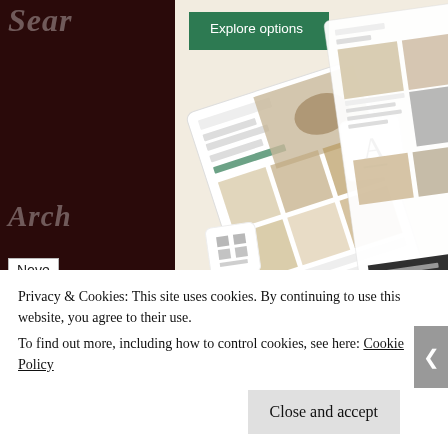Sear
Explore options
Arch
Nove
Cate
Sele
[Figure (screenshot): Website/app mockup screenshots showing a food blog or recipe website with food photography, text layout, and UI elements including an 'A' font icon and a layout icon on a cream/beige background, shown at an angle.]
Privacy & Cookies: This site uses cookies. By continuing to use this website, you agree to their use.
To find out more, including how to control cookies, see here: Cookie Policy
Close and accept